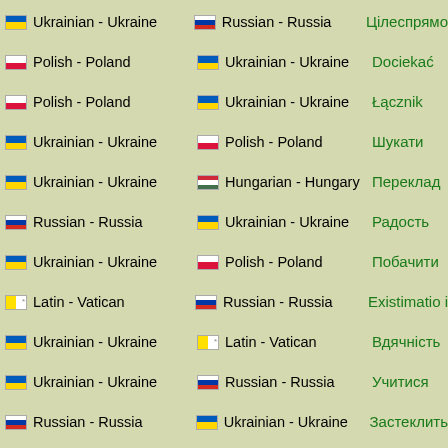Ukrainian - Ukraine | Polish - Poland | Контактувати
Ukrainian - Ukraine | Russian - Russia | Цілеспрямо
Polish - Poland | Ukrainian - Ukraine | Dociekać
Polish - Poland | Ukrainian - Ukraine | Łącznik
Ukrainian - Ukraine | Polish - Poland | Шукати
Ukrainian - Ukraine | Hungarian - Hungary | Переклад
Russian - Russia | Ukrainian - Ukraine | Радость
Ukrainian - Ukraine | Polish - Poland | Побачити
Latin - Vatican | Russian - Russia | Existimatio i
Ukrainian - Ukraine | Latin - Vatican | Вдячність
Ukrainian - Ukraine | Russian - Russia | Учитися
Russian - Russia | Ukrainian - Ukraine | Застеклить